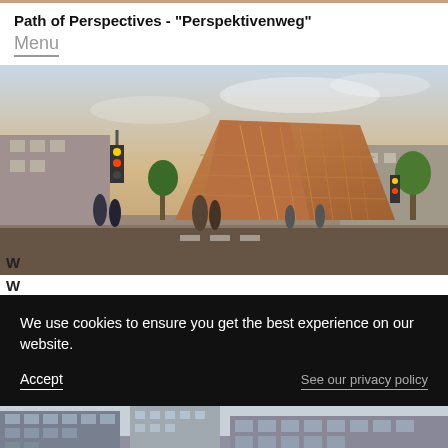Path of Perspectives - "Perspektivenweg"
Menu
[Figure (photo): Architectural rendering of a modern copper/golden angular building at a city intersection, with pedestrians, traffic lights, trees, and urban street scene.]
W
We use cookies to ensure you get the best experience on our website.
Accept
See our privacy policy
[Figure (photo): Urban street-level photograph showing modern glass office buildings and city signage.]